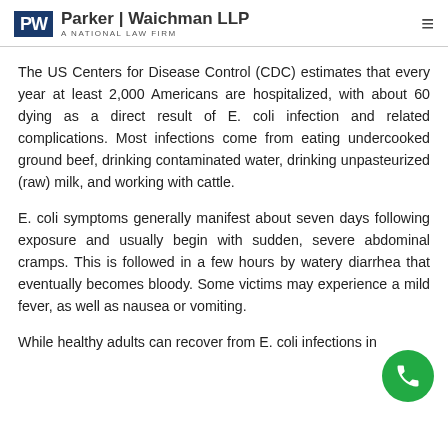Parker | Waichman LLP — A NATIONAL LAW FIRM
The US Centers for Disease Control (CDC) estimates that every year at least 2,000 Americans are hospitalized, with about 60 dying as a direct result of E. coli infection and related complications. Most infections come from eating undercooked ground beef, drinking contaminated water, drinking unpasteurized (raw) milk, and working with cattle.
E. coli symptoms generally manifest about seven days following exposure and usually begin with sudden, severe abdominal cramps. This is followed in a few hours by watery diarrhea that eventually becomes bloody. Some victims may experience a mild fever, as well as nausea or vomiting.
While healthy adults can recover from E. coli infections in